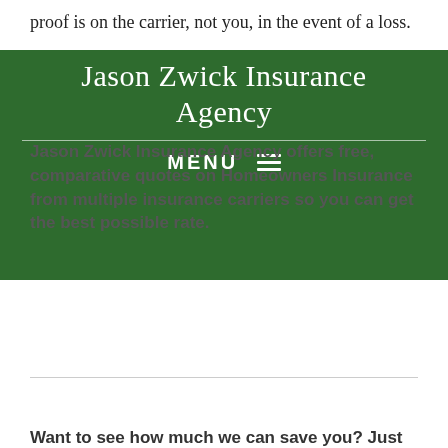proof is on the carrier, not you, in the event of a loss.
Jason Zwick Insurance Agency
MENU ≡
Jason Zwick Insurance Agency offers free, comparative quotes on Homeowners Insurance from multiple insurance carriers so you can get the best possible rate.
Want to see how much we can save you? Just request a quote to find out.